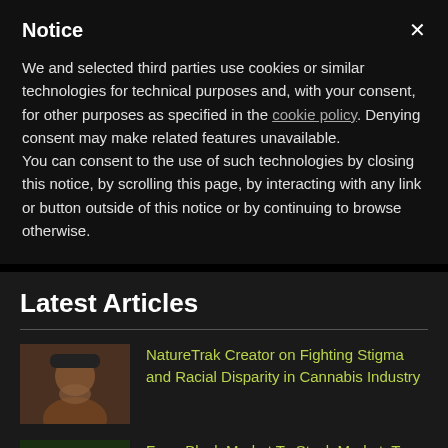Notice
We and selected third parties use cookies or similar technologies for technical purposes and, with your consent, for other purposes as specified in the cookie policy. Denying consent may make related features unavailable.
You can consent to the use of such technologies by closing this notice, by scrolling this page, by interacting with any link or button outside of this notice or by continuing to browse otherwise.
Latest Articles
[Figure (photo): Portrait photo of a man wearing a cap, smiling]
NatureTrak Creator on Fighting Stigma and Racial Disparity in Cannabis Industry
[Figure (photo): Photo of cannabis products/plants]
From Black Market To Stock Market: Top Tips From Cannapreneurs Who've Done Just That